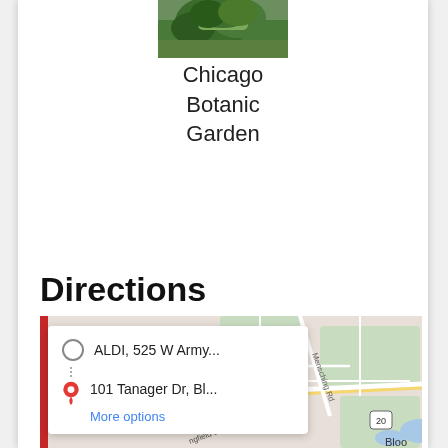[Figure (photo): Photo of trees/garden at top center (Chicago Botanic Garden thumbnail)]
Chicago Botanic Garden
Directions
[Figure (screenshot): Google Maps screenshot showing directions card with origin 'ALDI, 525 W Army...' and destination '101 Tanager Dr, Bl...' with 'More options' link, overlaid on a street map.]